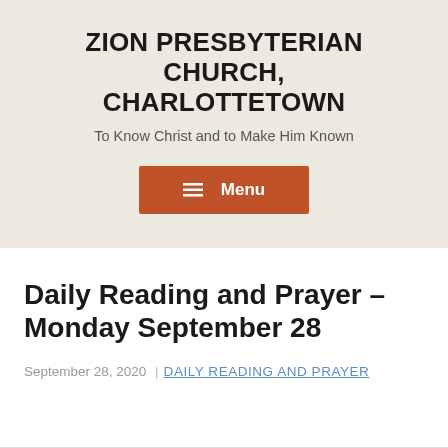ZION PRESBYTERIAN CHURCH, CHARLOTTETOWN
To Know Christ and to Make Him Known
[Figure (other): Orange/brown rectangular menu button with hamburger icon and text 'Menu']
Daily Reading and Prayer – Monday September 28
September 28, 2020 | DAILY READING AND PRAYER